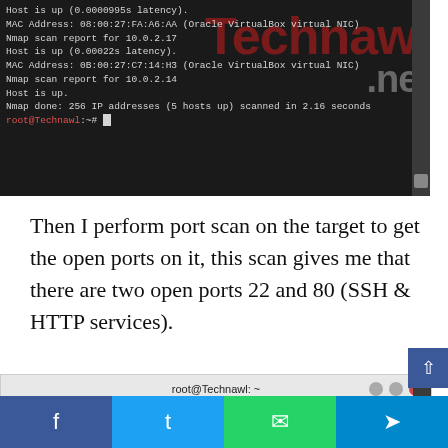[Figure (screenshot): Terminal window (dark background) showing nmap scan output. Text includes: Host is up (0.0000995 latency). MAC Address: 08:00:27:FA:A6:AA (Oracle VirtualBox virtual NIC), Nmap scan report for 10.0.2.17, Host is up (0.00022s latency). MAC Address: 0B:00:27:C7:14:H3 (Oracle VirtualBox virtual NIC), Nmap scan report for 10.0.2.14, Host is up., Nmap done: 256 IP addresses (5 hosts up) scanned in 2.16 seconds, root@Technawl:~# cursor. Background has red 'Technawi.net' watermark.]
Then I perform port scan on the target to get the open ports on it, this scan gives me that there are two open ports 22 and 80 (SSH & HTTP services).
[Figure (screenshot): Terminal window titled 'root@Technawl: ~' with minimize/maximize/close buttons. Menu bar: File Edit View Search Terminal Help. Terminal body (dark): root@Technawl:~# nmap -A 10.0.2.17 / Starting Nmap 7.70 ( https://nmap.org ) at 2019-05-29 13:09 EEST / Nmap scan report for 10.0.2.17 / Host is up (0.00076s latency)]